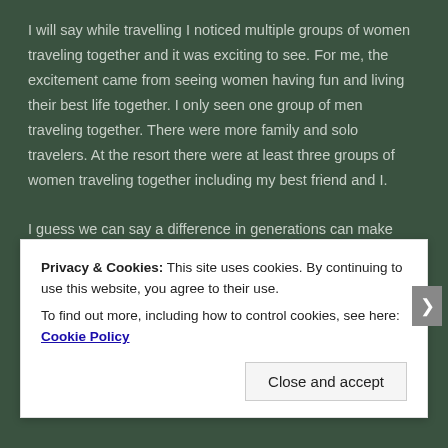I will say while travelling I noticed multiple groups of women traveling together and it was exciting to see. For me, the excitement came from seeing women having fun and living their best life together. I only seen one group of men traveling together. There were more family and solo travelers. At the resort there were at least three groups of women traveling together including my best friend and I.
I guess we can say a difference in generations can make something seem normal to one group and taboo to another
Privacy & Cookies: This site uses cookies. By continuing to use this website, you agree to their use.
To find out more, including how to control cookies, see here: Cookie Policy